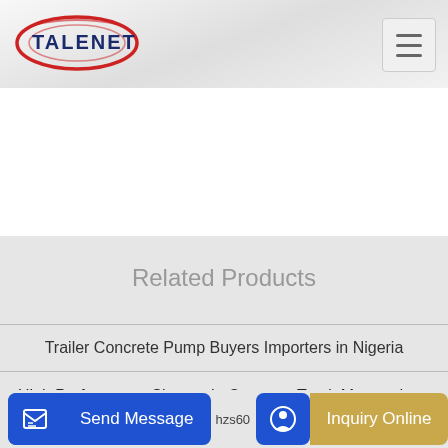[Figure (logo): Talenet company logo with oval swoosh design in red and blue]
Related Products
Trailer Concrete Pump Buyers Importers in Nigeria
High Performance Sinomada Concrete Truck Mounted Line Pump
Send Message
Inquiry Online